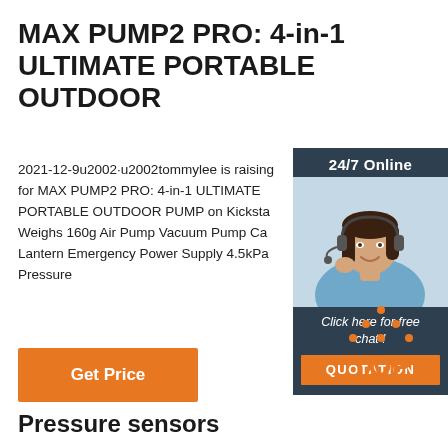MAX PUMP2 PRO: 4-in-1 ULTIMATE PORTABLE OUTDOOR
2021-12-9u2002·u2002tommylee is raising for MAX PUMP2 PRO: 4-in-1 ULTIMATE PORTABLE OUTDOOR PUMP on Kicksta Weighs 160g Air Pump Vacuum Pump Ca Lantern Emergency Power Supply 4.5kPa Pressure
[Figure (photo): Sidebar with 24/7 Online label, woman with headset customer service photo, Click here for free chat! text, and QUOTATION button]
Get Price
[Figure (logo): TOP logo with orange dots arranged in triangle above the word TOP in orange]
Pressure sensors